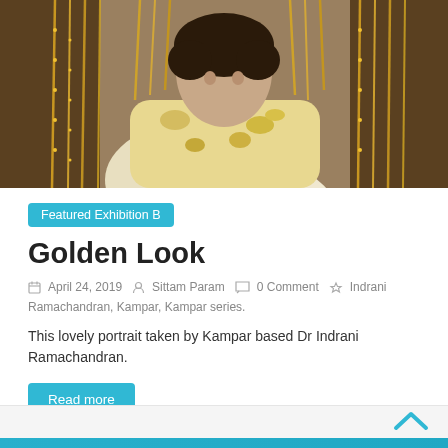[Figure (photo): Person standing among hanging gold chains/necklaces in what appears to be a jewelry shop, wearing a yellow floral outfit.]
Featured Exhibition B
Golden Look
April 24, 2019   Sittam Param   0 Comment   Indrani Ramachandran, Kampar, Kampar series.
This lovely portrait taken by Kampar based Dr Indrani Ramachandran.
Read more